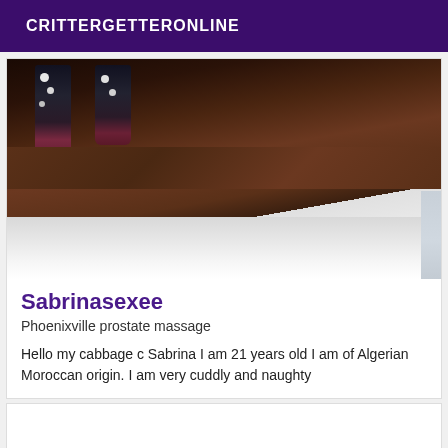CRITTERGETTERONLINE
[Figure (photo): Photo showing feet/legs with dark floral patterned clothing standing on a dark wooden floor, with white bedding visible at the bottom of the image.]
Sabrinasexee
Phoenixville prostate massage
Hello my cabbage c Sabrina I am 21 years old I am of Algerian Moroccan origin. I am very cuddly and naughty